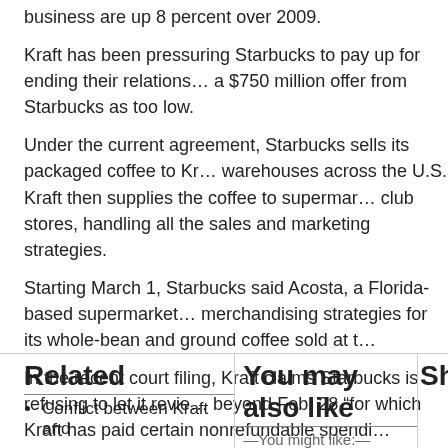business are up 8 percent over 2009.
Kraft has been pressuring Starbucks to pay up for ending their relations... a $750 million offer from Starbucks as too low.
Under the current agreement, Starbucks sells its packaged coffee to Kr... warehouses across the U.S. Kraft then supplies the coffee to supermar... club stores, handling all the sales and marketing strategies.
Starting March 1, Starbucks said Acosta, a Florida-based supermarket... merchandising strategies for its whole-bean and ground coffee sold at t...
In the recent court filing, Kraft claims Starbucks is refusing to let it revie... beyond Feb. 28 “for which Kraft has paid certain nonrefundable spendi...
In afternoon trading Wednesday, Kraft shares were up 2 cents at $31.8... cents at $32.89.
-By Matt Andrejczak
Read more about the topics in this post:
Coffee
Related
You may also like
Sh
Conflict between Kraft and
You might like: